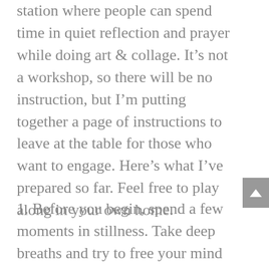station where people can spend time in quiet reflection and prayer while doing art & collage. It's not a workshop, so there will be no instruction, but I'm putting together a page of instructions to leave at the table for those who want to engage. Here's what I've prepared so far. Feel free to play along in your own home.
1. Before you begin, spend a few moments in stillness. Take deep breaths and try to free your mind of